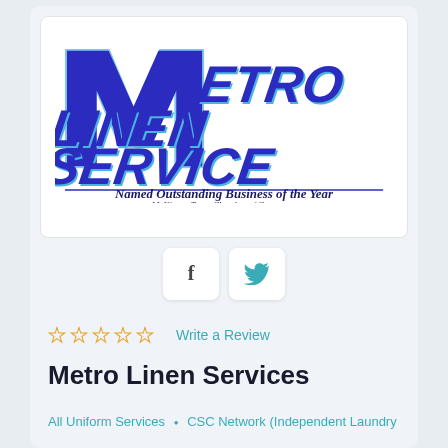[Figure (logo): Metro Linen Service logo with text 'Named Outstanding Business of the Year - McKinney Texas Chamber of Commerce']
[Figure (infographic): Social media buttons: Facebook (f) and Twitter (bird icon)]
☆☆☆☆☆ Write a Review
Metro Linen Services
All Uniform Services • CSC Network (Independent Laundry